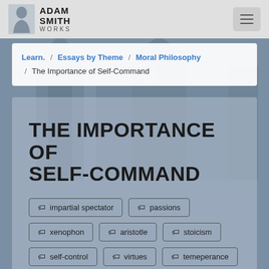[Figure (logo): Adam Smith Works logo with portrait icon and text]
ADAM SMITH WORKS
Learn. / Essays by Theme / Moral Philosophy / The Importance of Self-Command
THE IMPORTANCE OF SELF-COMMAND
impartial spectator
passions
xenophon
aristotle
stoicism
self-control
virtues
temeperance